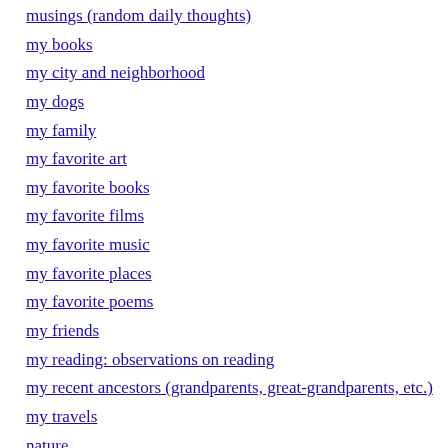musings (random daily thoughts)
my books
my city and neighborhood
my dogs
my family
my favorite art
my favorite books
my favorite films
my favorite music
my favorite places
my favorite poems
my friends
my reading: observations on reading
my recent ancestors (grandparents, great-grandparents, etc.)
my travels
nature
nutrition
obituaries and eulogies
obscenity